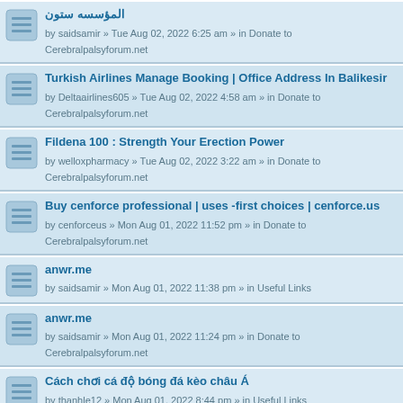المؤسسه ستون
by saidsamir » Tue Aug 02, 2022 6:25 am » in Donate to Cerebralpalsyforum.net
Turkish Airlines Manage Booking | Office Address In Balikesir
by Deltaairlines605 » Tue Aug 02, 2022 4:58 am » in Donate to Cerebralpalsyforum.net
Fildena 100 : Strength Your Erection Power
by welloxpharmacy » Tue Aug 02, 2022 3:22 am » in Donate to Cerebralpalsyforum.net
Buy cenforce professional | uses -first choices | cenforce.us
by cenforceus » Mon Aug 01, 2022 11:52 pm » in Donate to Cerebralpalsyforum.net
anwr.me
by saidsamir » Mon Aug 01, 2022 11:38 pm » in Useful Links
anwr.me
by saidsamir » Mon Aug 01, 2022 11:24 pm » in Donate to Cerebralpalsyforum.net
Cách chơi cá độ bóng đá kèo châu Á
by thanhle12 » Mon Aug 01, 2022 8:44 pm » in Useful Links
How to identify the grade of aluminum alloy
by crushermachine2 » Mon Aug 01, 2022 7:46 pm » in Parents of children with Cerebral Palsy
Village Gardens Kattameya Mall
by KhalidNegm » Mon Aug 01, 2022 3:42 pm » in Useful Links
Ver Capital Mall New Capital
by KhalidNegm » Mon Aug 01, 2022 2:18 pm » in Useful Links
Engine Diagnostics Berkshire